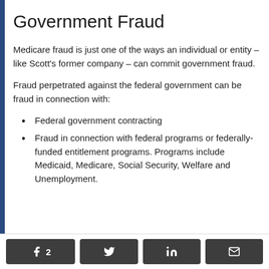Government Fraud
Medicare fraud is just one of the ways an individual or entity – like Scott's former company – can commit government fraud.
Fraud perpetrated against the federal government can be fraud in connection with:
Federal government contracting
Fraud in connection with federal programs or federally-funded entitlement programs. Programs include Medicaid, Medicare, Social Security, Welfare and Unemployment.
Social share buttons: Facebook 2, Twitter, LinkedIn, Email